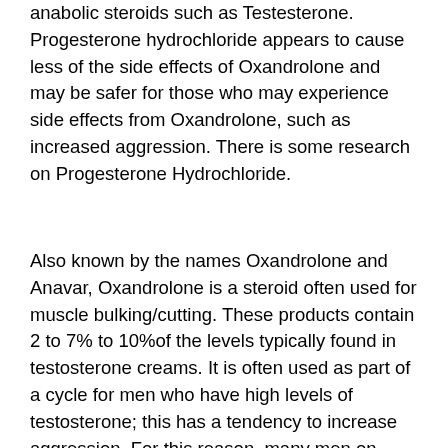anabolic steroids such as Testesterone. Progesterone hydrochloride appears to cause less of the side effects of Oxandrolone and may be safer for those who may experience side effects from Oxandrolone, such as increased aggression. There is some research on Progesterone Hydrochloride.
Also known by the names Oxandrolone and Anavar, Oxandrolone is a steroid often used for muscle bulking/cutting. These products contain 2 to 7% to 10%of the levels typically found in testosterone creams. It is often used as part of a cycle for men who have high levels of testosterone; this has a tendency to increase aggression. For this reason, many men on anabolic steroids, will avoid the use of Oxandrolone for at least a few months to reduce the side effect of aggressive/aggressive behavior. However, there is little research to indicate